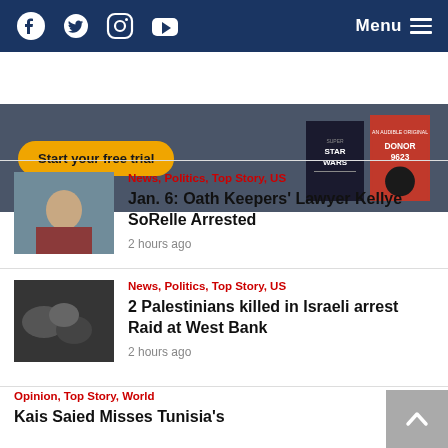Facebook, Twitter, Instagram, YouTube | Menu
[Figure (advertisement): Ad banner with 'Start your free trial' button and book covers for Star Wars and Donor 9623]
News, Politics, Top Story, US
Jan. 6: Oath Keepers' Lawyer Kellye SoRelle Arrested
2 hours ago
News, Politics, Top Story, US
2 Palestinians killed in Israeli arrest Raid at West Bank
2 hours ago
Opinion, Top Story, World
Kais Saied Misses Tunisia's